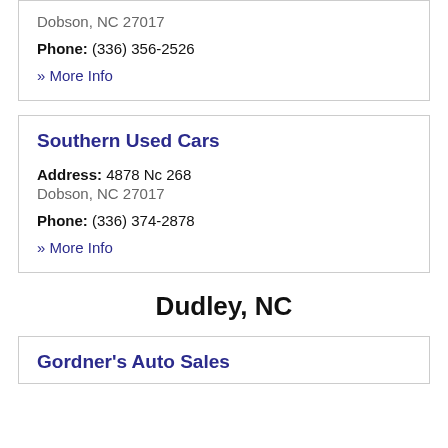Dobson, NC 27017
Phone: (336) 356-2526
» More Info
Southern Used Cars
Address: 4878 Nc 268
Dobson, NC 27017
Phone: (336) 374-2878
» More Info
Dudley, NC
Gordner's Auto Sales